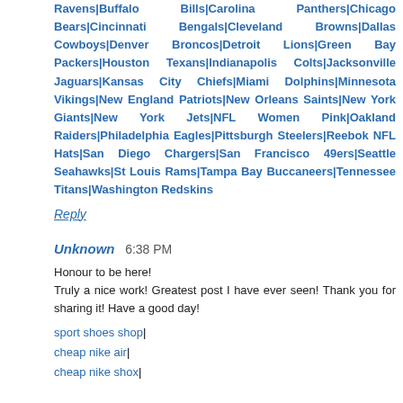Ravens|Buffalo Bills|Carolina Panthers|Chicago Bears|Cincinnati Bengals|Cleveland Browns|Dallas Cowboys|Denver Broncos|Detroit Lions|Green Bay Packers|Houston Texans|Indianapolis Colts|Jacksonville Jaguars|Kansas City Chiefs|Miami Dolphins|Minnesota Vikings|New England Patriots|New Orleans Saints|New York Giants|New York Jets|NFL Women Pink|Oakland Raiders|Philadelphia Eagles|Pittsburgh Steelers|Reebok NFL Hats|San Diego Chargers|San Francisco 49ers|Seattle Seahawks|St Louis Rams|Tampa Bay Buccaneers|Tennessee Titans|Washington Redskins
Reply
Unknown  6:38 PM
Honour to be here! Truly a nice work! Greatest post I have ever seen! Thank you for sharing it! Have a good day!
sport shoes shop|
cheap nike air|
cheap nike shox|